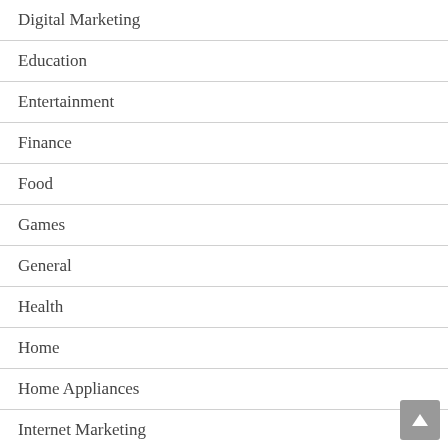Digital Marketing
Education
Entertainment
Finance
Food
Games
General
Health
Home
Home Appliances
Internet Marketing
Law
Real Estate